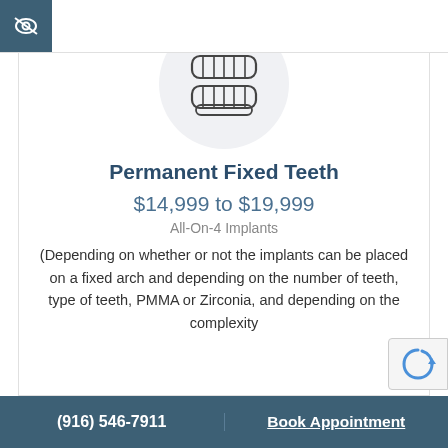[Figure (illustration): Dental implant / full teeth arch icon inside a light gray circle]
Permanent Fixed Teeth
$14,999 to $19,999
All-On-4 Implants
(Depending on whether or not the implants can be placed on a fixed arch and depending on the number of teeth, type of teeth, PMMA or Zirconia, and depending on the complexity
(916) 546-7911    Book Appointment